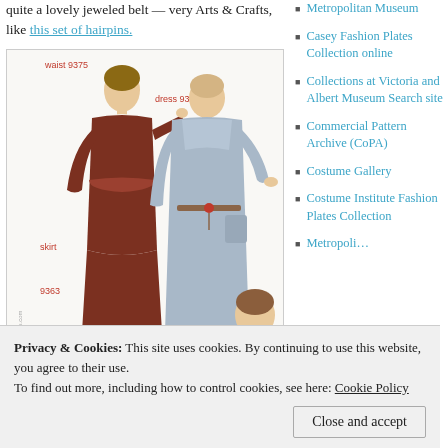quite a lovely jeweled belt — very Arts & Crafts, like this set of hairpins.
[Figure (illustration): Vintage fashion plate illustration showing two women in early 20th century dresses. Left figure wears a dark brown velvet dress with waist 9375 label and skirt 9363 label. Right figure wears a light blue/grey dress labeled dress 9326. A third figure partially visible at bottom right.]
Metropolitan Museum
Casey Fashion Plates Collection online
Collections at Victoria and Albert Museum Search site
Commercial Pattern Archive (CoPA)
Costume Gallery
Costume Institute Fashion Plates Collection Metropolitan
Privacy & Cookies: This site uses cookies. By continuing to use this website, you agree to their use. To find out more, including how to control cookies, see here: Cookie Policy
Close and accept